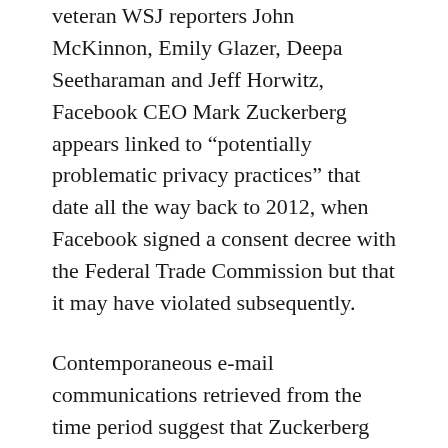veteran WSJ reporters John McKinnon, Emily Glazer, Deepa Seetharaman and Jeff Horwitz, Facebook CEO Mark Zuckerberg appears linked to “potentially problematic privacy practices” that date all the way back to 2012, when Facebook signed a consent decree with the Federal Trade Commission but that it may have violated subsequently.
Contemporaneous e-mail communications retrieved from the time period suggest that Zuckerberg was more than merely passively involved in deliberations about a particular app that claimed to have built a database stocked with information about millions of Facebook users. Purportedly, the app developer had the ability to display the Facebook user information